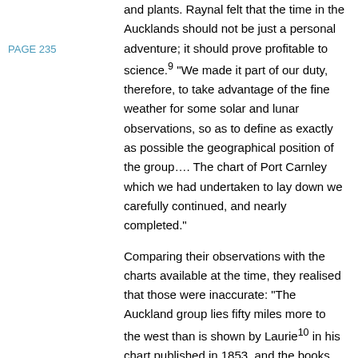PAGE 235
and plants. Raynal felt that the time in the Aucklands should not be just a personal adventure; it should prove profitable to science.⁹ "We made it part of our duty, therefore, to take advantage of the fine weather for some solar and lunar observations, so as to define as exactly as possible the geographical position of the group…. The chart of Port Carnley which we had undertaken to lay down we carefully continued, and nearly completed."

Comparing their observations with the charts available at the time, they realised that those were inaccurate: "The Auckland group lies fifty miles more to the west than is shown by Laurie¹⁰ in his chart published in 1853, and the books Epitome of